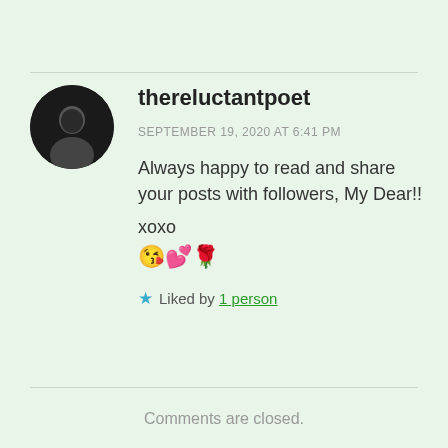thereluctantpoet
SEPTEMBER 19, 2020 AT 6:41 PM
Always happy to read and share your posts with followers, My Dear!!
xoxo
😘💕🌹
★ Liked by 1 person
Comments are closed.